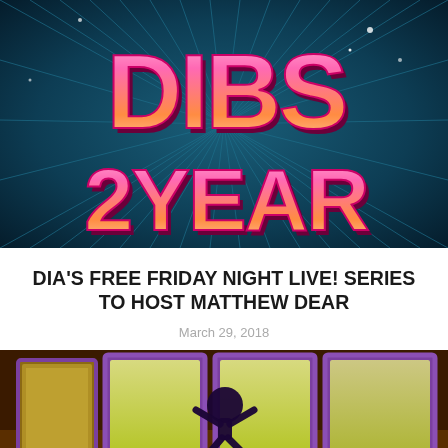[Figure (illustration): Decorative promotional image with stylized 3D gothic/retro lettering 'DIBS 2 YEAR' in pink/magenta gradient on a dark teal blue radial striped background with sparkles.]
DIA'S FREE FRIDAY NIGHT LIVE! SERIES TO HOST MATTHEW DEAR
March 29, 2018
[Figure (photo): Photo of a performer silhouetted against glowing yellow-green lit rectangular panels framed in purple/violet, appearing to jump or dance on stage.]